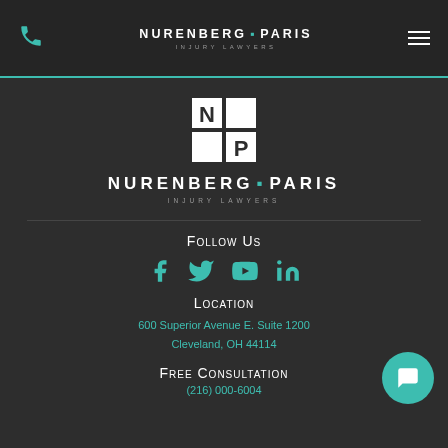NURENBERG • PARIS INJURY LAWYERS
[Figure (logo): Nurenberg Paris Injury Lawyers NP logo mark with two squares and large brand text]
Follow Us
[Figure (infographic): Social media icons: Facebook, Twitter, YouTube, LinkedIn in teal color]
Location
600 Superior Avenue E. Suite 1200
Cleveland, OH 44114
Free Consultation
(216) 000-6004